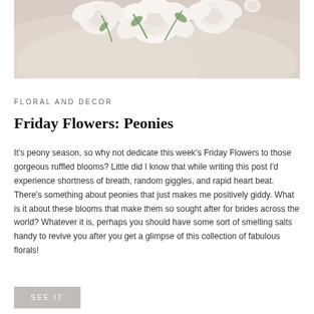[Figure (photo): White peony bouquet held by a bride in a white dress, photographed from below against a soft cream background]
FLORAL AND DECOR
Friday Flowers: Peonies
It's peony season, so why not dedicate this week's Friday Flowers to those gorgeous ruffled blooms? Little did I know that while writing this post I'd experience shortness of breath, random giggles, and rapid heart beat. There's something about peonies that just makes me positively giddy. What is it about these blooms that make them so sought after for brides across the world? Whatever it is, perhaps you should have some sort of smelling salts handy to revive you after you get a glimpse of this collection of fabulous florals!
SEE IT